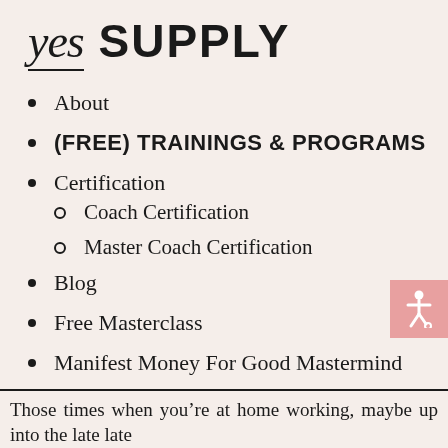[Figure (logo): yes SUPPLY logo — 'yes' in italic serif with underline, 'SUPPLY' in bold sans-serif capitals]
About
(FREE) TRAININGS & PROGRAMS
Certification
Coach Certification
Master Coach Certification
Blog
Free Masterclass
Manifest Money For Good Mastermind
Those times when you’re at home working maybe up into the late late